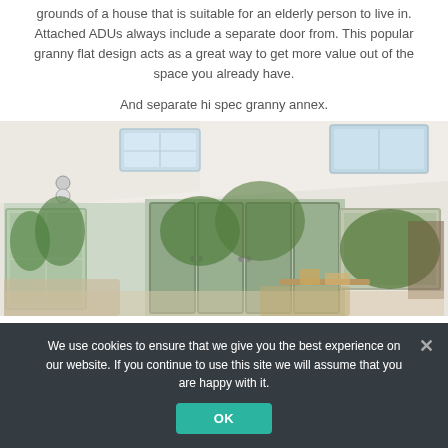grounds of a house that is suitable for an elderly person to live in. Attached ADUs always include a separate door from. This popular granny flat design acts as a great way to get more value out of the space you already have.
And separate hi spec granny annex.
[Figure (photo): Interior photo of a bright granny annex/extension room with white walls, sloped ceiling with two skylights, track lighting, large floor-to-ceiling windows and French doors showing a green garden outside. Wooden furniture visible in the foreground.]
We use cookies to ensure that we give you the best experience on our website. If you continue to use this site we will assume that you are happy with it.